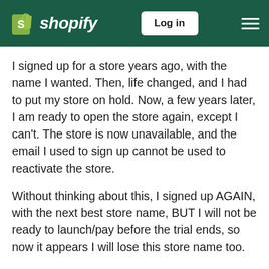Shopify — Log in
I signed up for a store years ago, with the name I wanted. Then, life changed, and I had to put my store on hold. Now, a few years later, I am ready to open the store again, except I can't. The store is now unavailable, and the email I used to sign up cannot be used to reactivate the store.
Without thinking about this, I signed up AGAIN, with the next best store name, BUT I will not be ready to launch/pay before the trial ends, so now it appears I will lose this store name too.
If you are just trying to learn how Shopify works, via a free trial, sign up with a name you never want to